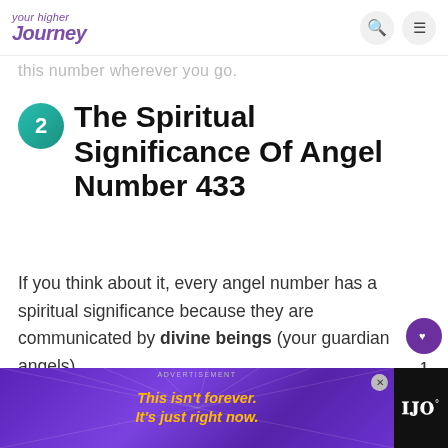your higher journey — navigation bar with search and menu icons
this number wherever you go.
2 The Spiritual Significance Of Angel Number 433
If you think about it, every angel number has a spiritual significance because they are communicated by divine beings (your guardian angels).
[Figure (other): Advertisement banner: 'This isn't forever. It's just right now.' on purple background with yellow text]
Advertisement